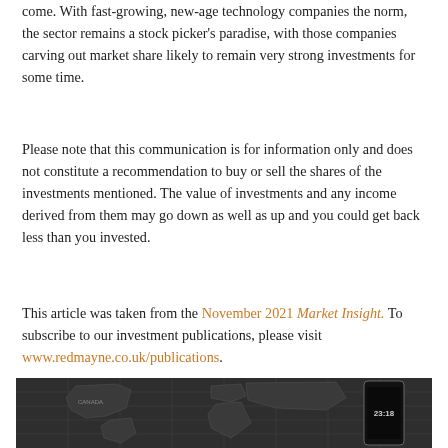come. With fast-growing, new-age technology companies the norm, the sector remains a stock picker's paradise, with those companies carving out market share likely to remain very strong investments for some time.
Please note that this communication is for information only and does not constitute a recommendation to buy or sell the shares of the investments mentioned. The value of investments and any income derived from them may go down as well as up and you could get back less than you invested.
This article was taken from the November 2021 Market Insight. To subscribe to our investment publications, please visit www.redmayne.co.uk/publications.
[Figure (photo): Black and white photograph of a smartphone displaying the time 23:18 placed on top of a world map showing grid lines and continent outlines]